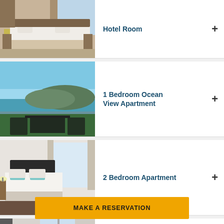[Figure (photo): Hotel room with large white bed, modern furniture, city view window]
Hotel Room
[Figure (photo): Balcony with outdoor dining table overlooking ocean and mountainous island, clear blue sky]
1 Bedroom Ocean View Apartment
[Figure (photo): Modern bedroom with large white bed, dark headboard, teal accent pillows, bright windows]
2 Bedroom Apartment
[Figure (photo): Partial view of a room, curtains and window visible]
MAKE A RESERVATION